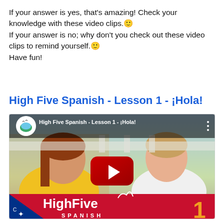If your answer is yes, that's amazing! Check your knowledge with these video clips.🙂 If your answer is no; why don't you check out these video clips to remind yourself.🙂 Have fun!
High Five Spanish - Lesson 1 - ¡Hola!
[Figure (screenshot): YouTube video thumbnail for 'High Five Spanish - Lesson 1 - ¡Hola!' showing two girls smiling with a red YouTube play button in the center, and the HighFive Spanish branding at the bottom with the number 1.]